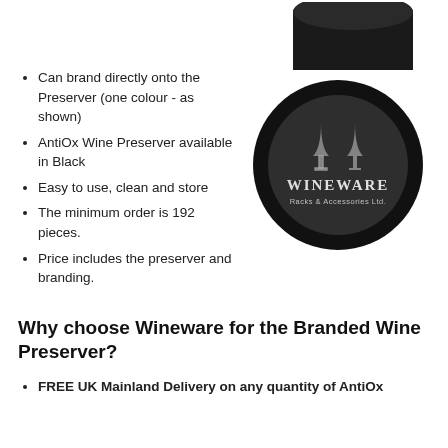[Figure (photo): Top portion of a black cylindrical AntiOx wine preserver cap, viewed from above, cropped at the top of the page]
Can brand directly onto the Preserver (one colour - as shown)
AntiOx Wine Preserver available in Black
Easy to use, clean and store
The minimum order is 192 pieces.
Price includes the preserver and branding.
[Figure (photo): Black circular AntiOx wine preserver viewed from top, showing Wineware Racks & Accessories Ltd. branding with wine glass icons on the face]
Why choose Wineware for the Branded Wine Preserver?
FREE UK Mainland Delivery on any quantity of AntiOx